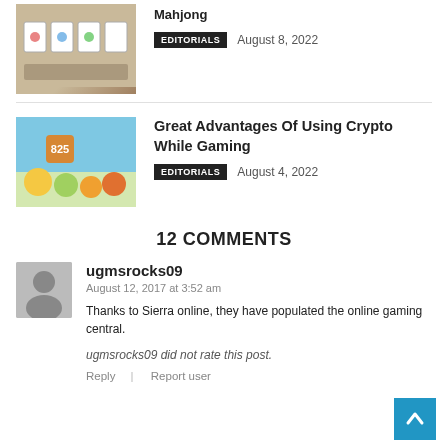[Figure (photo): Mahjong tiles on a table]
Great Advantages Of Using Crypto While Gaming
EDITORIALS  August 4, 2022
[Figure (photo): Colorful gaming characters on a beach scene]
12 COMMENTS
ugmsrocks09
August 12, 2017 at 3:52 am
Thanks to Sierra online, they have populated the online gaming central.
ugmsrocks09 did not rate this post.
Reply  Report user